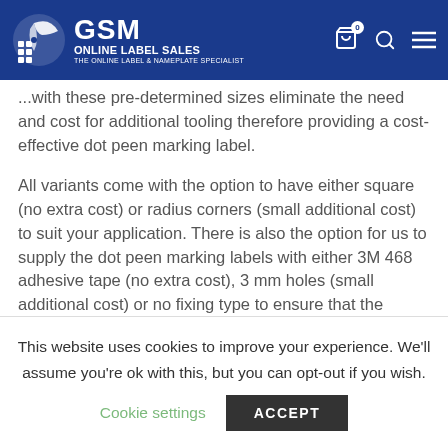GSM Online Label Sales — The Online Label & Nameplate Specialist
...with these pre-determined sizes eliminate the need and cost for additional tooling therefore providing a cost-effective dot peen marking label.
All variants come with the option to have either square (no extra cost) or radius corners (small additional cost) to suit your application. There is also the option for us to supply the dot peen marking labels with either 3M 468 adhesive tape (no extra cost), 3 mm holes (small additional cost) or no fixing type to ensure that the marking blanks meet your specification.
This website uses cookies to improve your experience. We'll assume you're ok with this, but you can opt-out if you wish.
Cookie settings   ACCEPT